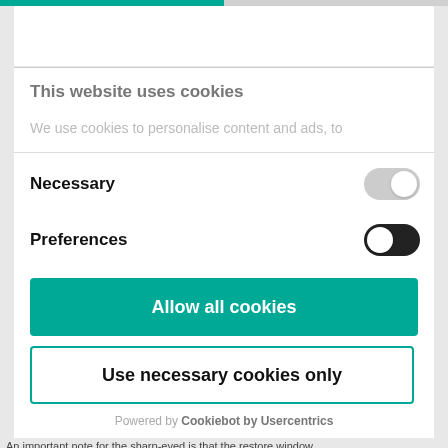This website uses cookies
We use cookies to personalise content and ads, to
Necessary
Preferences
Allow all cookies
Use necessary cookies only
Powered by Cookiebot by Usercentrics
An important note for the sharp-eyed is that the restore window